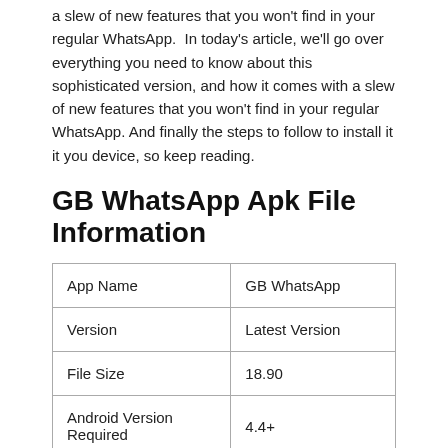a slew of new features that you won't find in your regular WhatsApp.  In today's article, we'll go over everything you need to know about this sophisticated version, and how it comes with a slew of new features that you won't find in your regular WhatsApp. And finally the steps to follow to install it it you device, so keep reading.
GB WhatsApp Apk File Information
| App Name | GB WhatsApp |
| Version | Latest Version |
| File Size | 18.90 |
| Android Version Required | 4.4+ |
| Last updated | 1 Hour ago (Today) |
GB Whatsapp Apk